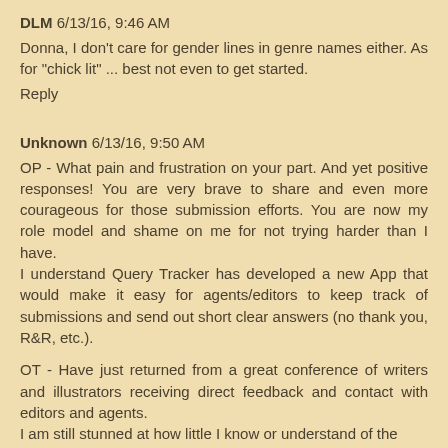DLM 6/13/16, 9:46 AM
Donna, I don't care for gender lines in genre names either. As for "chick lit" ... best not even to get started.
Reply
Unknown 6/13/16, 9:50 AM
OP - What pain and frustration on your part. And yet positive responses! You are very brave to share and even more courageous for those submission efforts. You are now my role model and shame on me for not trying harder than I have.
I understand Query Tracker has developed a new App that would make it easy for agents/editors to keep track of submissions and send out short clear answers (no thank you, R&R, etc.).
OT - Have just returned from a great conference of writers and illustrators receiving direct feedback and contact with editors and agents.
I am still stunned at how little I know or understand of the